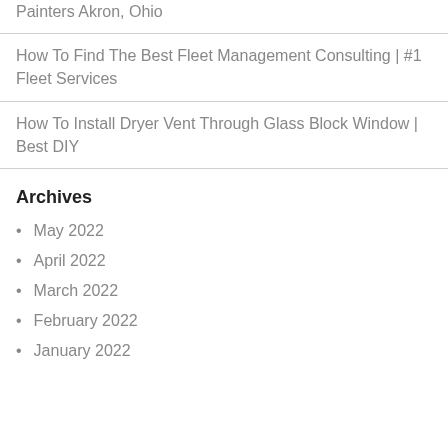Painters Akron, Ohio
How To Find The Best Fleet Management Consulting | #1 Fleet Services
How To Install Dryer Vent Through Glass Block Window | Best DIY
Archives
May 2022
April 2022
March 2022
February 2022
January 2022